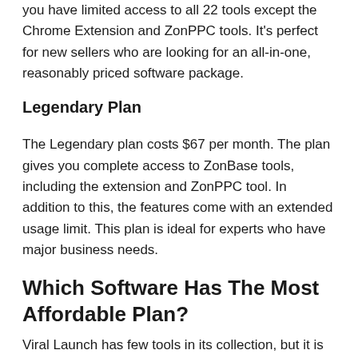you have limited access to all 22 tools except the Chrome Extension and ZonPPC tools. It's perfect for new sellers who are looking for an all-in-one, reasonably priced software package.
Legendary Plan
The Legendary plan costs $67 per month. The plan gives you complete access to ZonBase tools, including the extension and ZonPPC tool. In addition to this, the features come with an extended usage limit. This plan is ideal for experts who have major business needs.
Which Software Has The Most Affordable Plan?
Viral Launch has few tools in its collection, but it is